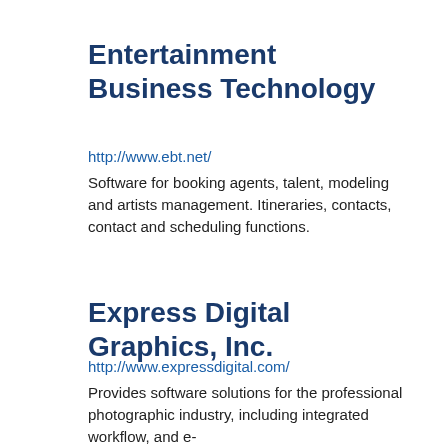Entertainment Business Technology
http://www.ebt.net/
Software for booking agents, talent, modeling and artists management. Itineraries, contacts, contact and scheduling functions.
Express Digital Graphics, Inc.
http://www.expressdigital.com/
Provides software solutions for the professional photographic industry, including integrated workflow, and e-